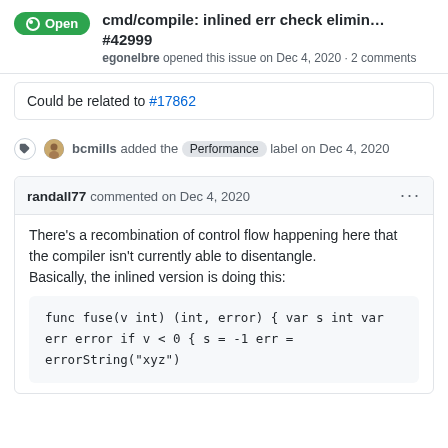cmd/compile: inlined err check elimin... #42999
egonelbre opened this issue on Dec 4, 2020 · 2 comments
Could be related to #17862
bcmills added the Performance label on Dec 4, 2020
randall77 commented on Dec 4, 2020
There's a recombination of control flow happening here that the compiler isn't currently able to disentangle.
Basically, the inlined version is doing this:
func fuse(v int) (int, error) {
        var s int
        var err error
        if v < 0 {
                s = -1
                err = errorString("xyz")